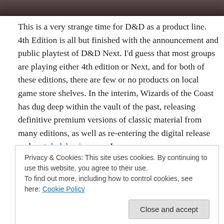[Figure (photo): Partial photo strip at the top of the page, showing a dark image (appears to be a fantasy/gaming related image).]
This is a very strange time for D&D as a product line. 4th Edition is all but finished with the announcement and public playtest of D&D Next. I'd guess that most groups are playing either 4th edition or Next, and for both of these editions, there are few or no products on local game store shelves. In the interim, Wizards of the Coast has dug deep within the vault of the past, releasing definitive premium versions of classic material from many editions, as well as re-entering the digital release realm at dndclassics.com. I
Privacy & Cookies: This site uses cookies. By continuing to use this website, you agree to their use.
To find out more, including how to control cookies, see here: Cookie Policy
[Close and accept button]
Into this bizarre and rather random release landscape